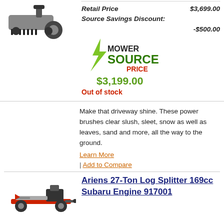[Figure (photo): Power brush sweeper machine photo]
Retail Price $3,699.00
Source Savings Discount:
-$500.00
[Figure (logo): Mower Source logo with lightning bolt]
$3,199.00
Out of stock
Make that driveway shine. These power brushes clear slush, sleet, snow as well as leaves, sand and more, all the way to the ground.
Learn More
| Add to Compare
[Figure (photo): Ariens 27-Ton Log Splitter photo]
Ariens 27-Ton Log Splitter 169cc Subaru Engine 917001